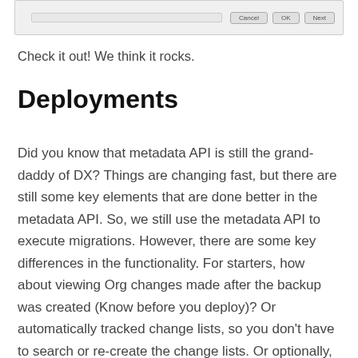[Figure (screenshot): Partial screenshot of a web application UI showing buttons labeled 'Cancel', 'OK', and 'Next' at the bottom of a dialog or form.]
Check it out! We think it rocks.
Deployments
Did you know that metadata API is still the grand-daddy of DX? Things are changing fast, but there are still some key elements that are done better in the metadata API. So, we still use the metadata API to execute migrations. However, there are some key differences in the functionality. For starters, how about viewing Org changes made after the backup was created (Know before you deploy)? Or automatically tracked change lists, so you don’t have to search or re-create the change lists. Or optionally, cleaning up broken references with a click of a